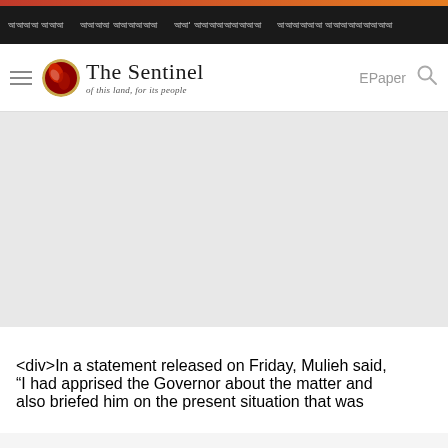The Sentinel — of this land, for its people | EPaper
[Figure (other): Gray advertisement/image placeholder area]
<div>In a statement released on Friday, Mulieh said, "I had apprised the Governor about the matter and also briefed him on the present situation that was